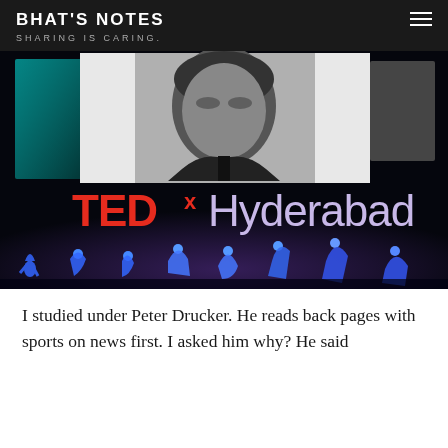BHAT'S NOTES
SHARING IS CARING.
[Figure (photo): TEDx Hyderabad event photo showing a large screen with a black-and-white portrait of a man, with the TEDx Hyderabad logo in red and lavender below, and blue-lit silhouette dancers on the stage in front.]
I studied under Peter Drucker. He reads back pages with sports on news first. I asked him why? He said